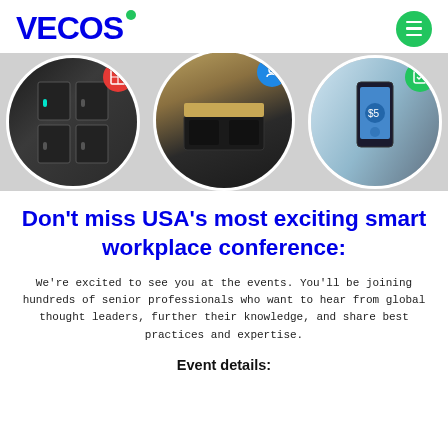VECOS
[Figure (photo): Three circular photos arranged side by side: left shows dark storage lockers with a teal indicator light and a red circle icon overlay, center shows a dark office cabinet/desk with a blue circle icon overlay, right shows a person holding a smartphone with payment app and a green circle icon overlay. Grey background behind the image strip.]
Don't miss USA's most exciting smart workplace conference:
We're excited to see you at the events. You'll be joining hundreds of senior professionals who want to hear from global thought leaders, further their knowledge, and share best practices and expertise.
Event details: